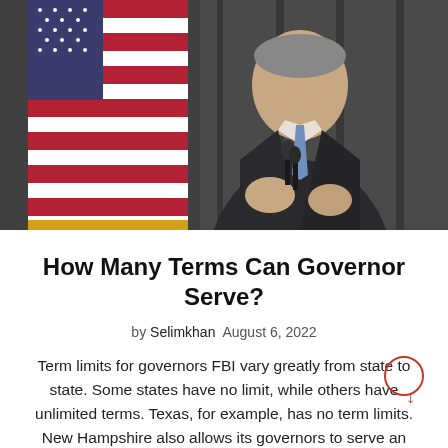[Figure (photo): A man in a dark suit with a blue tie speaking at a podium with microphones, with an American flag in the background and dark curtain behind him.]
How Many Terms Can Governor Serve?
by Selimkhan  August 6, 2022
Term limits for governors FBI vary greatly from state to state. Some states have no limit, while others have unlimited terms. Texas, for example, has no term limits. New Hampshire also allows its governors to serve an